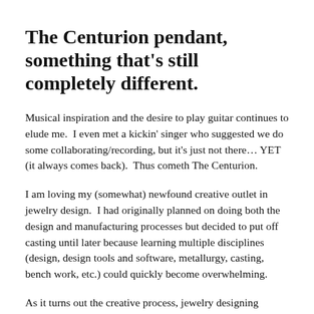The Centurion pendant, something that’s still completely different.
Musical inspiration and the desire to play guitar continues to elude me.  I even met a kickin’ singer who suggested we do some collaborating/recording, but it’s just not there… YET (it always comes back).  Thus cometh The Centurion.
I am loving my (somewhat) newfound creative outlet in jewelry design.  I had originally planned on doing both the design and manufacturing processes but decided to put off casting until later because learning multiple disciplines (design, design tools and software, metallurgy, casting, bench work, etc.) could quickly become overwhelming.
As it turns out the creative process, jewelry designing concepts/guidelines and learning digital sculpting have